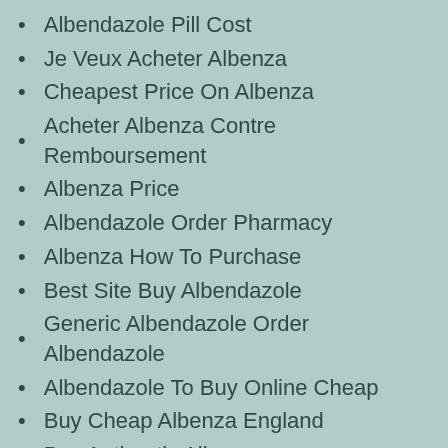Albendazole Pill Cost
Je Veux Acheter Albenza
Cheapest Price On Albenza
Acheter Albenza Contre Remboursement
Albenza Price
Albendazole Order Pharmacy
Albenza How To Purchase
Best Site Buy Albendazole
Generic Albendazole Order Albendazole
Albendazole To Buy Online Cheap
Buy Cheap Albenza England
Buy Authentic Albenza
Albendazole Cost Online